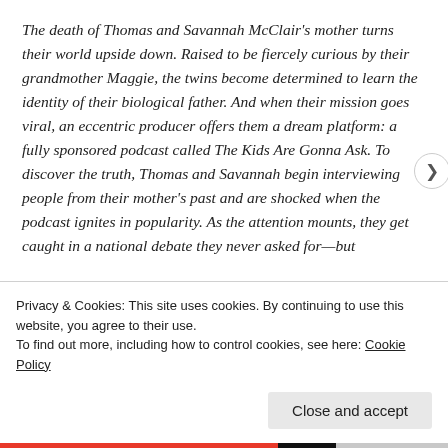The death of Thomas and Savannah McClair's mother turns their world upside down. Raised to be fiercely curious by their grandmother Maggie, the twins become determined to learn the identity of their biological father. And when their mission goes viral, an eccentric producer offers them a dream platform: a fully sponsored podcast called The Kids Are Gonna Ask. To discover the truth, Thomas and Savannah begin interviewing people from their mother's past and are shocked when the podcast ignites in popularity. As the attention mounts, they get caught in a national debate they never asked for—but
Privacy & Cookies: This site uses cookies. By continuing to use this website, you agree to their use.
To find out more, including how to control cookies, see here: Cookie Policy
Close and accept